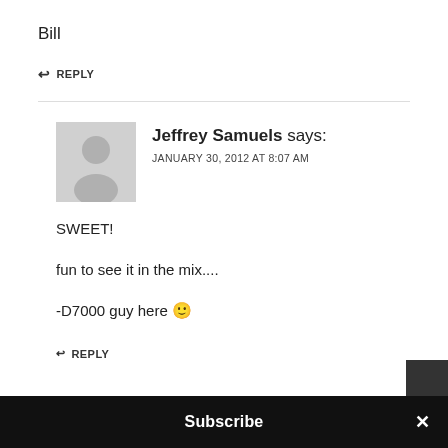Bill
↩ REPLY
Jeffrey Samuels says:
JANUARY 30, 2012 AT 8:07 AM
SWEET!
fun to see it in the mix....
-D7000 guy here 🙂
↩ REPLY
Subscribe ×